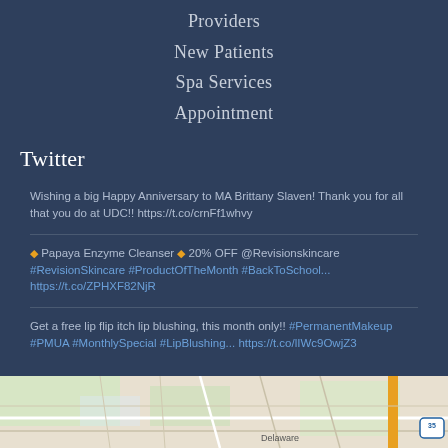Providers
New Patients
Spa Services
Appointment
Twitter
Wishing a big Happy Anniversary to MA Brittany Slaven! Thank you for all that you do at UDC!! https://t.co/crnFf1whvy
◆ Papaya Enzyme Cleanser ◆ 20% OFF @Revisionskincare #RevisionSkincare #ProductOfTheMonth #BackToSchool... https://t.co/ZPHXF82NjR
Get a free lip flip itch lip blushing, this month only!! #PermanentMakeup #PMUA #MonthlySpecial #LipBlushing... https://t.co/lIWc9OwjZ3
[Figure (map): Street map showing Delaware area with route 35 marked]